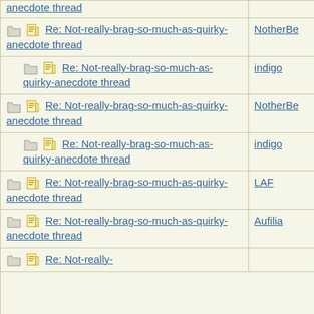| Thread | Author |
| --- | --- |
| Re: Not-really-brag-so-much-as-quirky-anecdote thread | NotherBe |
| Re: Not-really-brag-so-much-as-quirky-anecdote thread | indigo |
| Re: Not-really-brag-so-much-as-quirky-anecdote thread | NotherBe |
| Re: Not-really-brag-so-much-as-quirky-anecdote thread | indigo |
| Re: Not-really-brag-so-much-as-quirky-anecdote thread | LAF |
| Re: Not-really-brag-so-much-as-quirky-anecdote thread | Aufilia |
| Re: Not-really- |  |